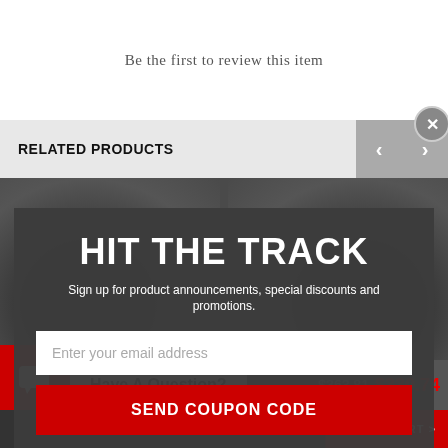Be the first to review this item
RELATED PRODUCTS
HIT THE TRACK
Sign up for product announcements, special discounts and promotions.
Enter your email address
SEND COUPON CODE
Close Popup
Motive Gear
Motive Gear 3.70 Ratio 9in Ford F890370
Motive Gear
Motive Gear 5.43 Ratio 9in Ford F890543
$363.81
$330.74
Have A Question?
SHOW SIDEBAR +
ADD TO CART >
ADD TO CART >